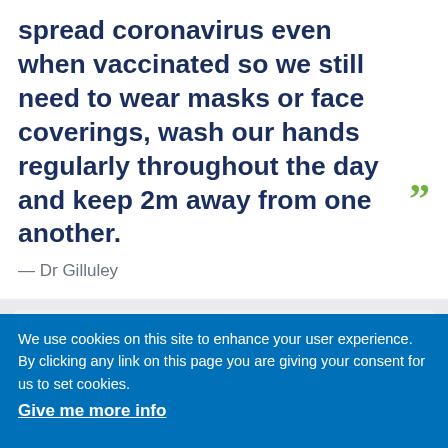spread coronavirus even when vaccinated so we still need to wear masks or face coverings, wash our hands regularly throughout the day and keep 2m away from one another.
— Dr Gilluley
Attendance will be by appointment only. People will be contacted to attend according to the Government's priority
We use cookies on this site to enhance your user experience. By clicking any link on this page you are giving your consent for us to set cookies. Give me more info